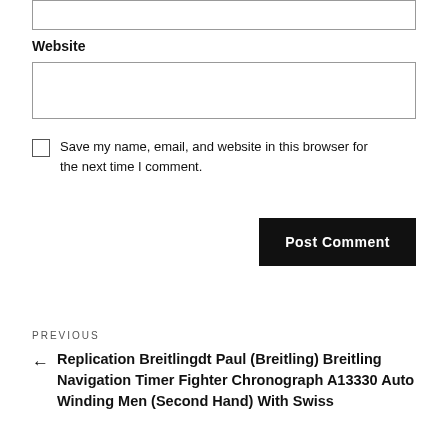Website
Save my name, email, and website in this browser for the next time I comment.
Post Comment
PREVIOUS
← Replication Breitlingdt Paul (Breitling) Breitling Navigation Timer Fighter Chronograph A13330 Auto Winding Men (Second Hand) With Swiss